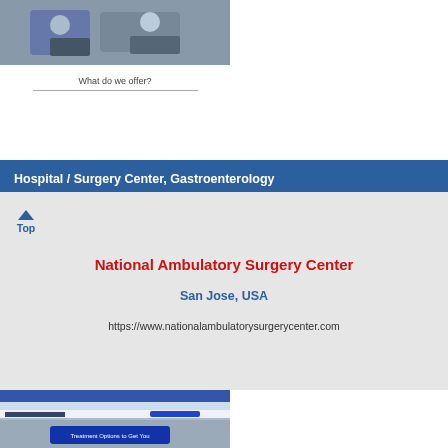[Figure (photo): Photo of people working at a table with laptops in an office setting]
What do we offer?
Hospital / Surgery Center, Gastroenterology
National Ambulatory Surgery Center
San Jose, USA
https://www.nationalambulatorysurgerycenter.com
[Figure (screenshot): Screenshot of a medical website for Peter Lorman, M.D. showing treatment options]